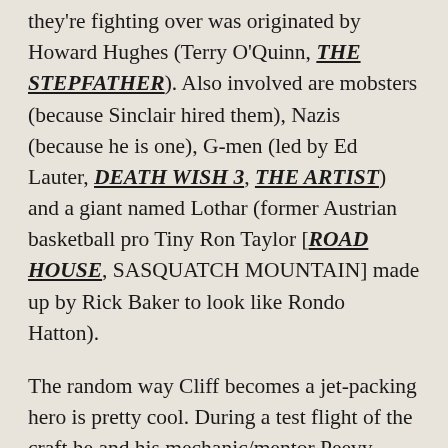they're fighting over was originated by Howard Hughes (Terry O'Quinn, THE STEPFATHER). Also involved are mobsters (because Sinclair hired them), Nazis (because he is one), G-men (led by Ed Lauter, DEATH WISH 3, THE ARTIST) and a giant named Lothar (former Austrian basketball pro Tiny Ron Taylor [ROAD HOUSE, SASQUATCH MOUNTAIN] made up by Rick Baker to look like Rondo Hatton). The random way Cliff becomes a jet-packing hero is pretty cool. During a test flight of the craft he and his mechanic/mentor Peevy (Alan Arkin, FREEBIE AND THE BEAN) have been working on for years, he flies over a chase between the mobsters and the FBI. The mobsters think he's with the feds and turn their tommy guns on him! Some kind of mixup causes the gangsters